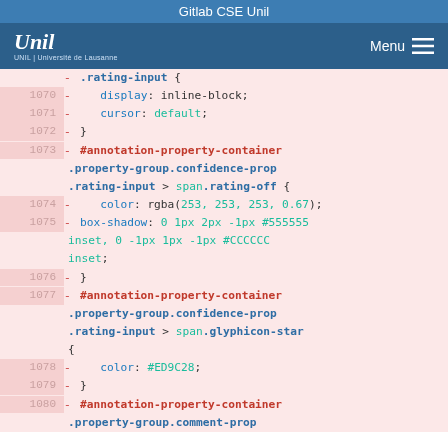Gitlab CSE Unil
[Figure (screenshot): UNIL university logo with italic script and subtitle]
Menu navigation icon
Code diff view showing CSS lines 1070-1080 with removed lines (red background). Line 1070: display: inline-block; Line 1071: cursor: default; Line 1072: } Line 1073: #annotation-property-container .property-group.confidence-prop .rating-input > span.rating-off { Line 1074: color: rgba(253, 253, 253, 0.67); Line 1075: box-shadow: 0 1px 2px -1px #555555 inset, 0 -1px 1px -1px #CCCCCC inset; Line 1076: } Line 1077: #annotation-property-container .property-group.confidence-prop .rating-input > span.glyphicon-star { Line 1078: color: #ED9C28; Line 1079: } Line 1080: #annotation-property-container .property-group.comment-prop